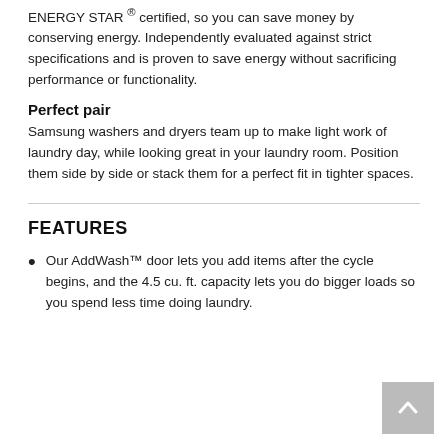ENERGY STAR ® certified, so you can save money by conserving energy. Independently evaluated against strict specifications and is proven to save energy without sacrificing performance or functionality.
Perfect pair
Samsung washers and dryers team up to make light work of laundry day, while looking great in your laundry room. Position them side by side or stack them for a perfect fit in tighter spaces.
FEATURES
Our AddWash™ door lets you add items after the cycle begins, and the 4.5 cu. ft. capacity lets you do bigger loads so you spend less time doing laundry.